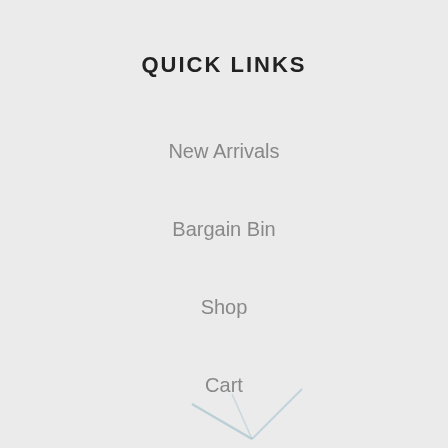QUICK LINKS
New Arrivals
Bargain Bin
Shop
Cart
Checkout
CONTACT STREAMX
sales@streamxflyfishing.co.za
087 153 4824